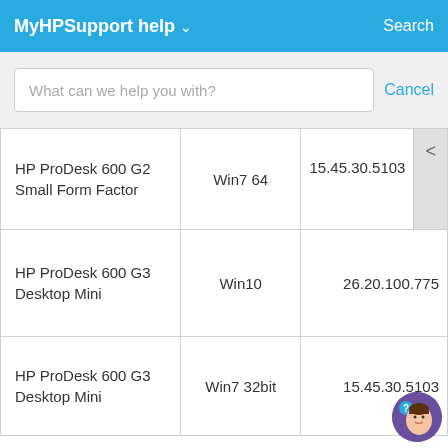MyHPSupport help ∨   Search
What can we help you with?   Cancel
| Product | OS | Version |
| --- | --- | --- |
| HP ProDesk 600 G2 Small Form Factor | Win7 64 | 15.45.30.5103 |
| HP ProDesk 600 G3 Desktop Mini | Win10 | 26.20.100.775 |
| HP ProDesk 600 G3 Desktop Mini | Win7 32bit | 15.45.30.5103 |